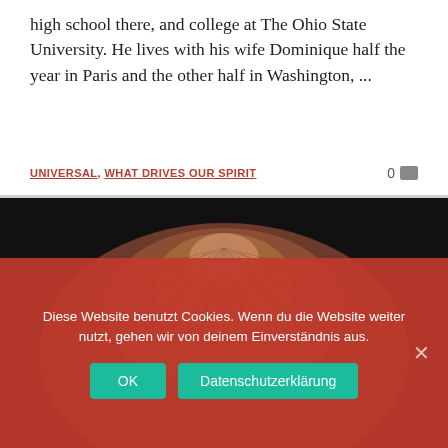high school there, and college at The Ohio State University. He lives with his wife Dominique half the year in Paris and the other half in Washington, ...
UNIVERSAL, WHAT DRIVES OUR SPIRIT
[Figure (photo): Top-down view of a person with reddish-brown hair against a dark background]
Diese Website benutzt Cookies. Wenn du die Website weiter nutzt, gehen wir von deinem Einverständnis aus.